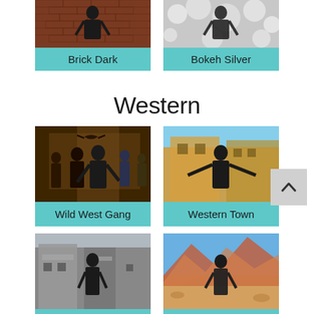[Figure (photo): Photo of person against brick wall background — Brick Dark]
Brick Dark
[Figure (photo): Photo of person against bokeh silver background — Bokeh Silver]
Bokeh Silver
Western
[Figure (photo): Photo of group of people in western/wild west costumes — Wild West Gang]
Wild West Gang
[Figure (photo): Photo of person in front of western town building — Western Town]
Western Town
[Figure (photo): Photo of person in front of western town street — Western Town 2]
Western Town 2
[Figure (photo): Photo of person in front of mountain desert western landscape — Western Moun...]
Western Moun...